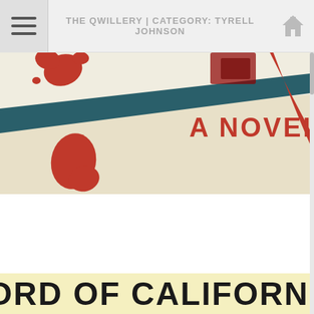THE QWILLERY | CATEGORY: TYRELL JOHNSON
[Figure (photo): Partial book cover showing a cream/off-white background with a dark teal diagonal shape resembling an arrow or blade, red paint splashes, and text reading 'A NOVEL' in red block letters]
[Figure (photo): Partial book cover with light yellow background and black bold text reading 'LORD OF CALIFORNIA' in large uppercase condensed font]